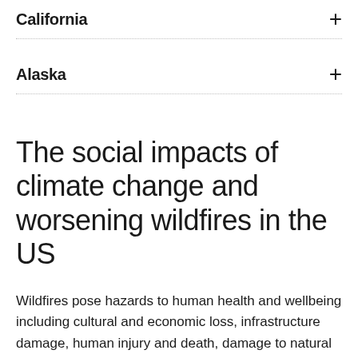California
Alaska
The social impacts of climate change and worsening wildfires in the US
Wildfires pose hazards to human health and wellbeing including cultural and economic loss, infrastructure damage, human injury and death, damage to natural resources, decreased air quality, and decreased water supply and quality.